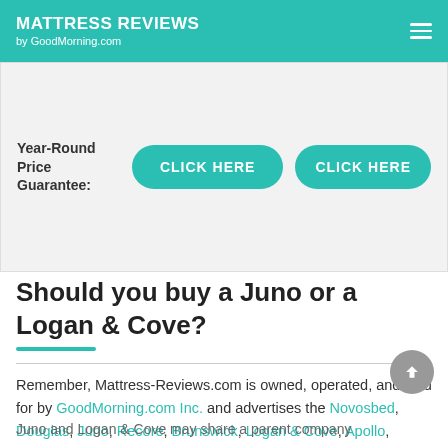MATTRESS REVIEWS by GoodMorning.com
| Year-Round Price Guarantee: | Col2 | Col3 |
| --- | --- | --- |
| Year-Round Price Guarantee: | CLICK HERE | CLICK HERE |
Should you buy a Juno or a Logan & Cove?
Remember, Mattress-Reviews.com is owned, operated, and paid for by GoodMorning.com Inc. and advertises the Novosbed, Douglas, Juno, Recore, Brunswick, Logan & Cove, Apollo, Cherry, and Podium brands. The following is strictly our competitive opinion:
Juno and Logan & Cove may share a parent company